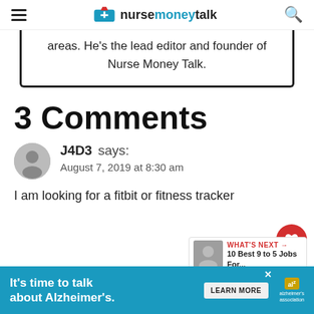nursemoneytalk
areas. He's the lead editor and founder of Nurse Money Talk.
3 Comments
J4D3 says:
August 7, 2019 at 8:30 am
I am looking for a fitbit or fitness tracker that...
[Figure (other): Advertisement banner: It's time to talk about Alzheimer's. LEARN MORE button. alzheimer's association logo.]